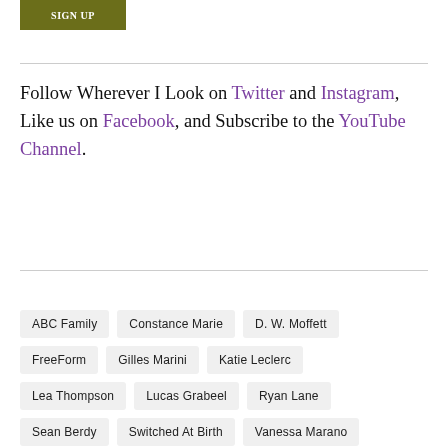[Figure (other): Sign up button in olive/dark yellow-green color]
Follow Wherever I Look on Twitter and Instagram, Like us on Facebook, and Subscribe to the YouTube Channel.
ABC Family
Constance Marie
D. W. Moffett
FreeForm
Gilles Marini
Katie Leclerc
Lea Thompson
Lucas Grabeel
Ryan Lane
Sean Berdy
Switched At Birth
Vanessa Marano